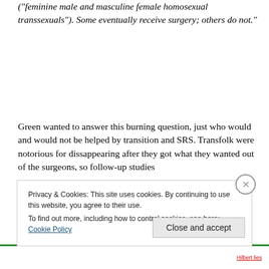("feminine male and masculine female homosexual transsexuals"). Some eventually receive surgery; others do not."
Green wanted to answer this burning question, just who would and would not be helped by transition and SRS. Transfolk were notorious for dissappearing after they got what they wanted out of the surgeons, so follow-up studies
Privacy & Cookies: This site uses cookies. By continuing to use this website, you agree to their use. To find out more, including how to control cookies, see here: Cookie Policy
Close and accept